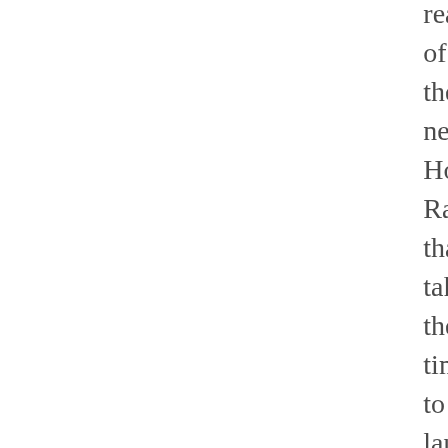rea of the new Ho Ra tha tak the tim to lau the Lu app on my iPh and